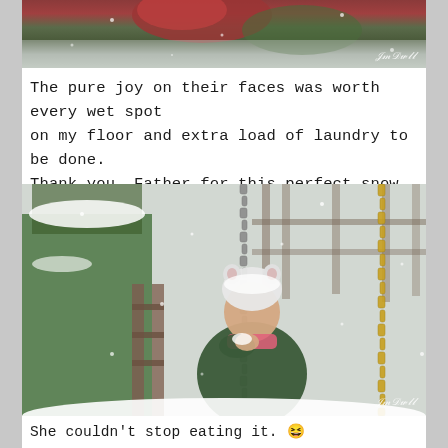[Figure (photo): Partial top photo showing snowy scene with red and green colored objects, partially cropped. Photographer watermark visible in lower right.]
The pure joy on their faces was worth every wet spot on my floor and extra load of laundry to be done. Thank you, Father for this perfect snow day!
[Figure (photo): A young girl wearing a white animal-ear knit hat and dark green winter coat standing near a snow-covered playground swing set. She is holding snow up to her mouth eating it. Snow is falling. Wooden play structure and fence visible in background. Photographer watermark visible in lower right.]
She couldn't stop eating it. 😆